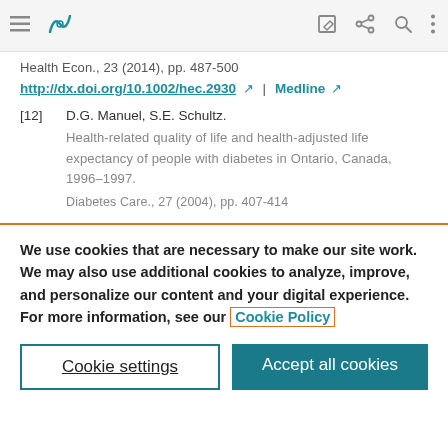Navigation bar with menu, logo, edit, share, search, and more icons
Health Econ., 23 (2014), pp. 487-500
http://dx.doi.org/10.1002/hec.2930 | Medline
[12] D.G. Manuel, S.E. Schultz.
Health-related quality of life and health-adjusted life expectancy of people with diabetes in Ontario, Canada, 1996–1997.
Diabetes Care., 27 (2004), pp. 407-414
We use cookies that are necessary to make our site work. We may also use additional cookies to analyze, improve, and personalize our content and your digital experience. For more information, see our Cookie Policy
Cookie settings | Accept all cookies